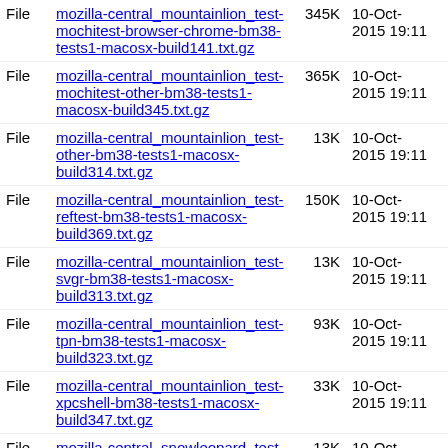| Type | Name | Size | Date |
| --- | --- | --- | --- |
| File | mozilla-central_mountainlion_test-mochitest-other-bm38-tests1-macosx-build345.txt.gz | 365K | 10-Oct-2015 19:11 |
| File | mozilla-central_mountainlion_test-other-bm38-tests1-macosx-build314.txt.gz | 13K | 10-Oct-2015 19:11 |
| File | mozilla-central_mountainlion_test-reftest-bm38-tests1-macosx-build369.txt.gz | 150K | 10-Oct-2015 19:11 |
| File | mozilla-central_mountainlion_test-svgr-bm38-tests1-macosx-build313.txt.gz | 13K | 10-Oct-2015 19:11 |
| File | mozilla-central_mountainlion_test-tpn-bm38-tests1-macosx-build323.txt.gz | 93K | 10-Oct-2015 19:11 |
| File | mozilla-central_mountainlion_test-xpcshell-bm38-tests1-macosx-build347.txt.gz | 33K | 10-Oct-2015 19:11 |
| File | mozilla-central_snowleopard_test-chromez-bm04-tests1-macosx-build126.txt.gz | 13K | 10-Oct-2015 19:11 |
| File | mozilla-central_snowleopard_test-crashtest-bm06-tests1-macosx-build539.txt.gz | 35K | 10-Oct-2015 19:11 |